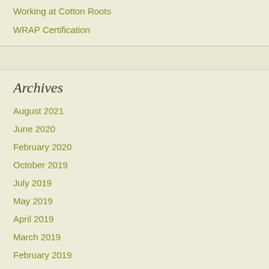Working at Cotton Roots
WRAP Certification
Archives
August 2021
June 2020
February 2020
October 2019
July 2019
May 2019
April 2019
March 2019
February 2019
January 2019